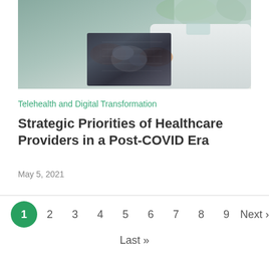[Figure (photo): Doctor in white coat holding an X-ray or medical imaging scan, hands and tablet visible, clinical setting with greenery in background]
Telehealth and Digital Transformation
Strategic Priorities of Healthcare Providers in a Post-COVID Era
May 5, 2021
1 2 3 4 5 6 7 8 9 Next › Last »